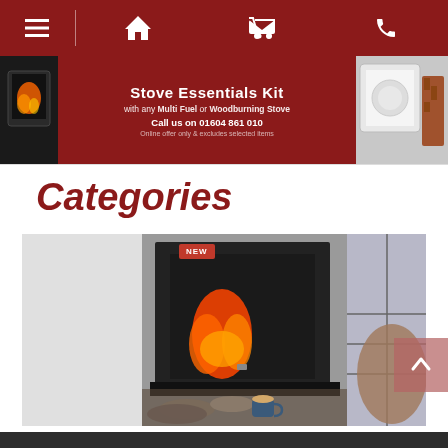Navigation bar with menu, home, cart, and phone icons
[Figure (photo): Promotional banner for Stove Essentials Kit with Multi Fuel or Woodburning Stove, phone number 01604 861 010]
Categories
[Figure (photo): NEW badge fireplace/stove product photo showing a modern conventional flue gas fire insert set in a slate surround in a contemporary living room]
Conventional Flue
[Figure (photo): Bottom partial image of another product category]